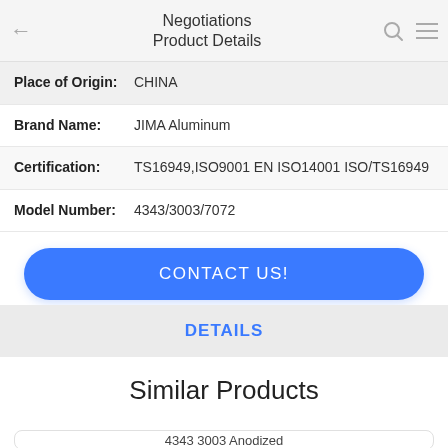Negotiations Product Details
| Field | Value |
| --- | --- |
| Place of Origin: | CHINA |
| Brand Name: | JIMA Aluminum |
| Certification: | TS16949,ISO9001 EN ISO14001 ISO/TS16949 |
| Model Number: | 4343/3003/7072 |
CONTACT US!
DETAILS
Similar Products
4343 3003 Anodized